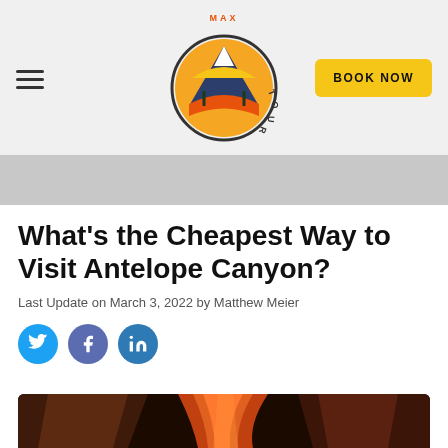MaxTour — BOOK NOW
What's the Cheapest Way to Visit Antelope Canyon?
Last Update on March 3, 2022 by Matthew Meier
[Figure (photo): Social media share icons: Twitter (blue), Facebook (indigo), LinkedIn (blue)]
[Figure (photo): Interior photo of Antelope Canyon showing orange and red sandstone slot canyon walls with dramatic lighting]